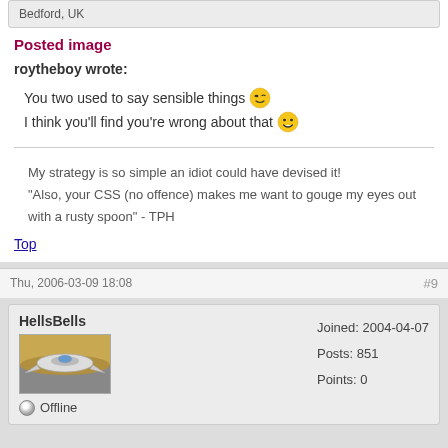Bedford, UK
Posted image
roytheboy wrote:
You two used to say sensible things 😉
I think you'll find you're wrong about that 😁
My strategy is so simple an idiot could have devised it!
"Also, your CSS (no offence) makes me want to gouge my eyes out with a rusty spoon" - TPH
Top
Thu, 2006-03-09 18:08   #9
HellsBells  Joined: 2004-04-07  Posts: 851  Points: 0  Offline